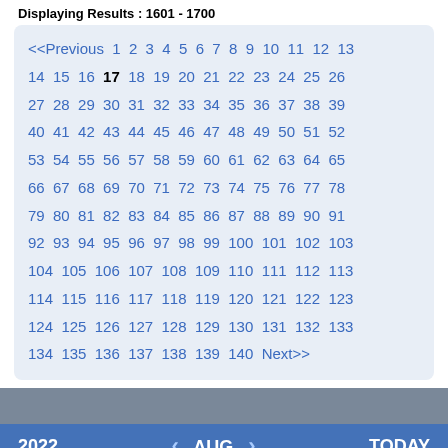Displaying Results : 1601 - 1700
<<Previous 1 2 3 4 5 6 7 8 9 10 11 12 13 14 15 16 17 18 19 20 21 22 23 24 25 26 27 28 29 30 31 32 33 34 35 36 37 38 39 40 41 42 43 44 45 46 47 48 49 50 51 52 53 54 55 56 57 58 59 60 61 62 63 64 65 66 67 68 69 70 71 72 73 74 75 76 77 78 79 80 81 82 83 84 85 86 87 88 89 90 91 92 93 94 95 96 97 98 99 100 101 102 103 104 105 106 107 108 109 110 111 112 113 114 115 116 117 118 119 120 121 122 123 124 125 126 127 128 129 130 131 132 133 134 135 136 137 138 139 140 Next>>
2022  AUG  TODAY
SU M T W TH F S
1 2 3 4 5 6
↑ Scroll To Top